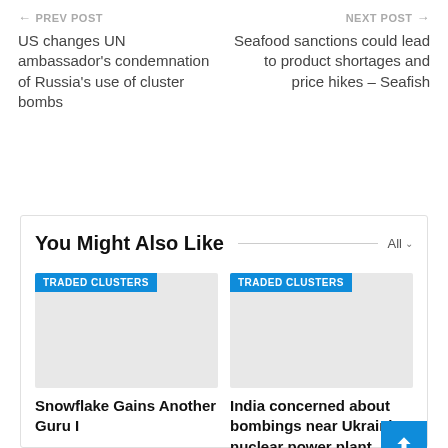← PREV POST
US changes UN ambassador's condemnation of Russia's use of cluster bombs
NEXT POST →
Seafood sanctions could lead to product shortages and price hikes – Seafish
You Might Also Like
[Figure (other): Gray placeholder image with TRADED CLUSTERS badge]
Snowflake Gains Another Guru I
[Figure (other): Gray placeholder image with TRADED CLUSTERS badge]
India concerned about bombings near Ukrainian nuclear power plant